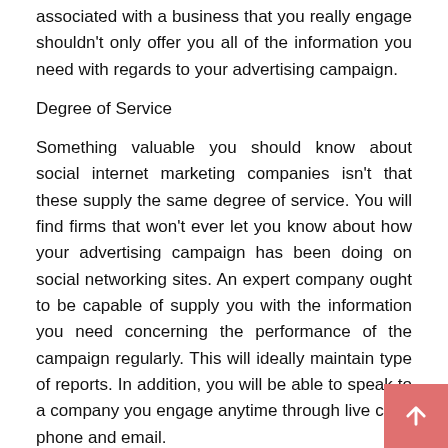associated with a business that you really engage shouldn't only offer you all of the information you need with regards to your advertising campaign.
Degree of Service
Something valuable you should know about social internet marketing companies isn't that these supply the same degree of service. You will find firms that won't ever let you know about how your advertising campaign has been doing on social networking sites. An expert company ought to be capable of supply you with the information you need concerning the performance of the campaign regularly. This will ideally maintain type of reports. In addition, you will be able to speak to a company you engage anytime through live chat, phone and email.
Cost